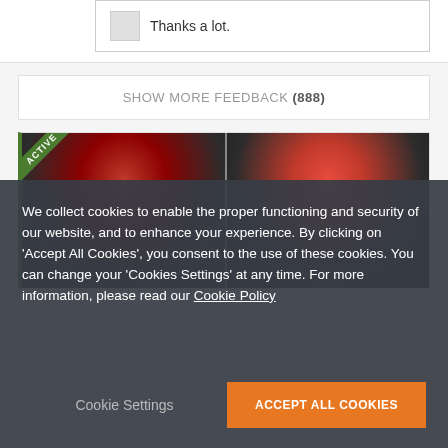Thanks a lot.
SHOW MORE FEEDBACK (888)
[Figure (photo): Two side-by-side photos of a figure with red/pink hair and dark background, with an ACTIVE badge in the top-left corner.]
We collect cookies to enable the proper functioning and security of our website, and to enhance your experience. By clicking on 'Accept All Cookies', you consent to the use of these cookies. You can change your 'Cookies Settings' at any time. For more information, please read our Cookie Policy
Cookie Settings
ACCEPT ALL COOKIES